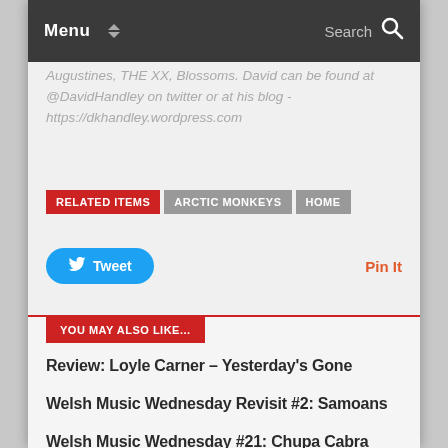Menu  Search
Augustines, THE XX, Blossoms. David can be found at @DavidHandley on twitter or at his blog - https://dkhandley.wordpress.com
RELATED ITEMS  ARCTIC MONKEYS  HOME
Tweet  Pin It
YOU MAY ALSO LIKE...
Review: Loyle Carner – Yesterday's Gone
Welsh Music Wednesday Revisit #2: Samoans
Welsh Music Wednesday #21: Chupa Cabra
LEAVE A REPLY